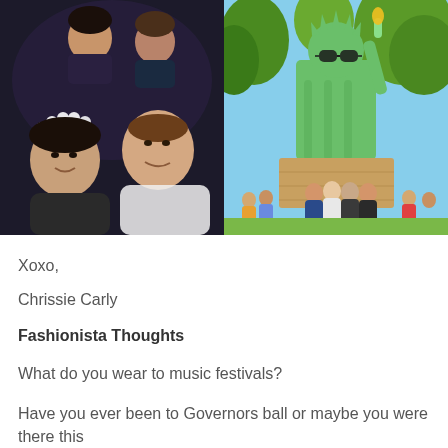[Figure (photo): Two-photo collage: left photo shows a group of four young women taking a selfie at night, one wearing a white flower crown; right photo shows a Lego/statue of Liberty replica with sunglasses at an outdoor festival with crowds and trees in the background.]
Xoxo,
Chrissie Carly
Fashionista Thoughts
What do you wear to music festivals?
Have you ever been to Governors ball or maybe you were there this